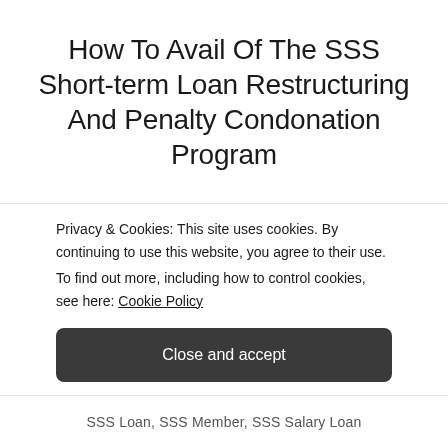How To Avail Of The SSS Short-term Loan Restructuring And Penalty Condonation Program
Do you have an outstanding short-term loan with the SSS that has remained unpaid for quite some time now? Are you afraid to inquire about it because you are sure that the penalties and interest charges may have already overtaken the principal amount? The SSS has some good news! Beginning November 15 up to February
Privacy & Cookies: This site uses cookies. By continuing to use this website, you agree to their use.
To find out more, including how to control cookies, see here: Cookie Policy
Close and accept
SSS Loan, SSS Member, SSS Salary Loan